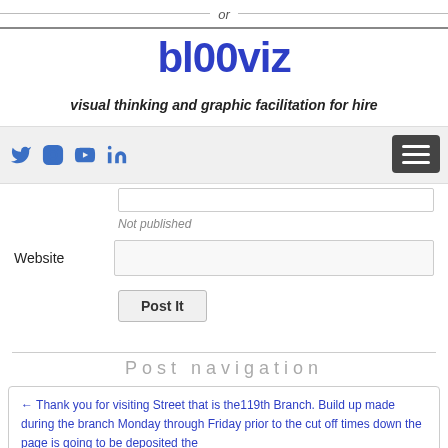or
bl00viz
visual thinking and graphic facilitation for hire
[Figure (other): Navigation bar with social media icons (Twitter, Instagram, YouTube, LinkedIn) and hamburger menu button]
Not published
Website
Post It
Post navigation
← Thank you for visiting Street that is the119th Branch. Build up made during the branch Monday through Friday prior to the cut off times down the page is going to be deposited the